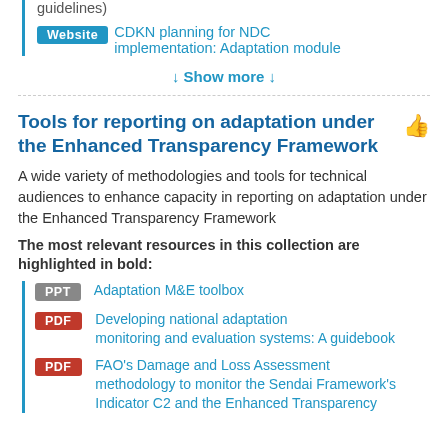guidelines)
Website — CDKN planning for NDC implementation: Adaptation module
↓ Show more ↓
Tools for reporting on adaptation under the Enhanced Transparency Framework
A wide variety of methodologies and tools for technical audiences to enhance capacity in reporting on adaptation under the Enhanced Transparency Framework
The most relevant resources in this collection are highlighted in bold:
PPT — Adaptation M&E toolbox
PDF — Developing national adaptation monitoring and evaluation systems: A guidebook
PDF — FAO's Damage and Loss Assessment methodology to monitor the Sendai Framework's Indicator C2 and the Enhanced Transparency